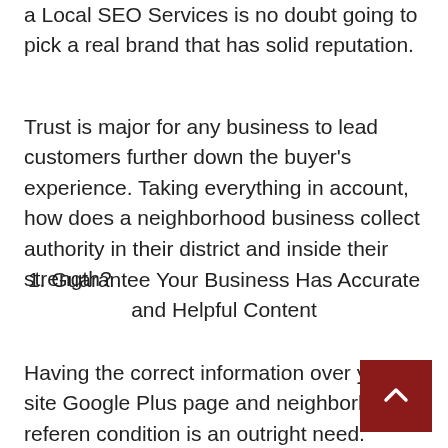a Local SEO Services is no doubt going to pick a real brand that has solid reputation.
Trust is major for any business to lead customers further down the buyer’s experience. Taking everything in account, how does a neighborhood business collect authority in their district and inside their strength?
1. Guarantee Your Business Has Accurate and Helpful Content
Having the correct information over your site Google Plus page and neighborhood reference condition is an outright need. Content just hits the